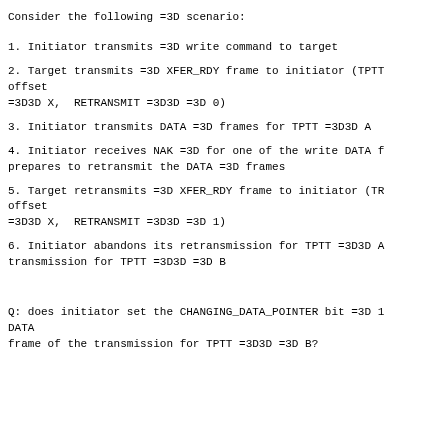Consider the following =3D scenario:
1. Initiator transmits =3D write command to target
2. Target transmits =3D XFER_RDY frame to initiator (TPTT offset =3D3D X, RETRANSMIT =3D3D =3D 0)
3. Initiator transmits DATA =3D frames for TPTT =3D3D A
4. Initiator receives NAK =3D for one of the write DATA f prepares to retransmit the DATA =3D frames
5. Target retransmits =3D XFER_RDY frame to initiator (TR offset =3D3D X, RETRANSMIT =3D3D =3D 1)
6. Initiator abandons its retransmission for TPTT =3D3D A transmission for TPTT =3D3D =3D B
Q: does initiator set the CHANGING_DATA_POINTER bit =3D 1 DATA frame of the transmission for TPTT =3D3D =3D B?